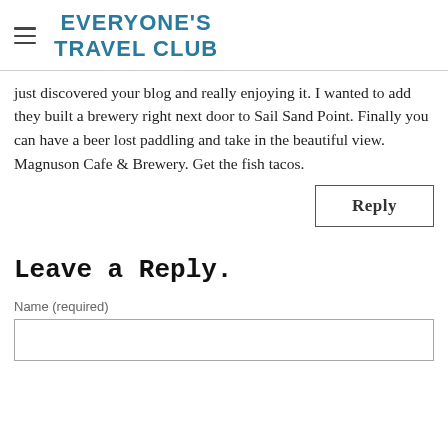EVERYONE'S TRAVEL CLUB
just discovered your blog and really enjoying it. I wanted to add they built a brewery right next door to Sail Sand Point. Finally you can have a beer lost paddling and take in the beautiful view. Magnuson Cafe & Brewery. Get the fish tacos.
Reply
Leave a Reply.
Name (required)